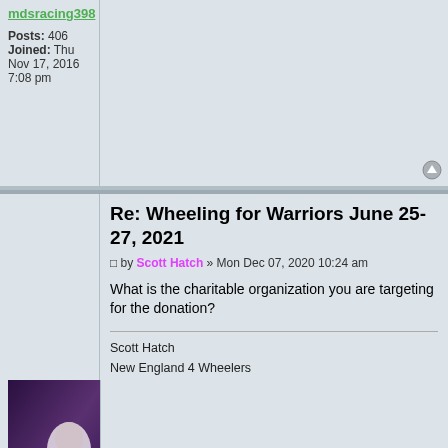mdsracing398
Posts: 406
Joined: Thu Nov 17, 2016 7:08 pm
Re: Wheeling for Warriors June 25-27, 2021
by Scott Hatch » Mon Dec 07, 2020 10:24 am
What is the charitable organization you are targeting for the donation?
Scott Hatch
New England 4 Wheelers
shatch0341@gmail.com
[Figure (photo): Avatar photo of Scott Hatch - dark fantasy/gothic style image]
Scott Hatch
Posts: 13871
Joined: Tue Jan 04, 2005 2:59